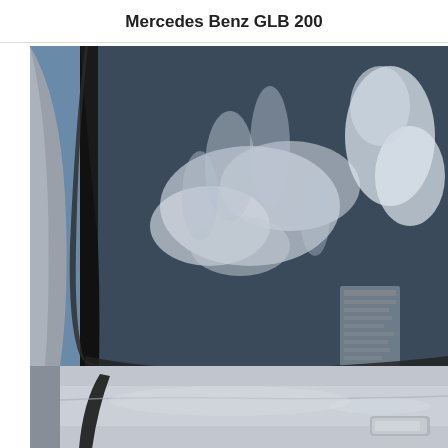Mercedes Benz GLB 200
[Figure (photo): Close-up photograph of the rear quarter panel and rear window of a Mercedes Benz GLB 200. The image shows the dark-tinted rear window reflecting blue sky and white clouds, with the silver/light grey body panel below. A black window pillar divides the view. The car body has a smooth, polished surface. The bottom right corner shows a partial view of a door handle or badge.]